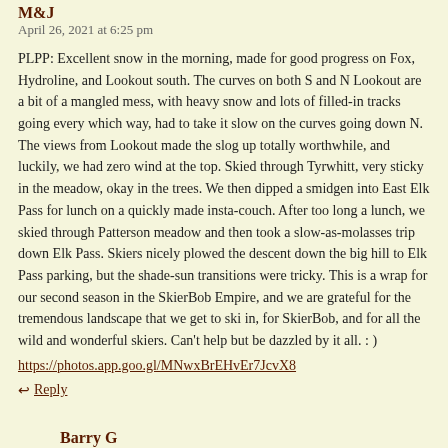M&J
April 26, 2021 at 6:25 pm
PLPP: Excellent snow in the morning, made for good progress on Fox, Hydroline, and Lookout south. The curves on both S and N Lookout are a bit of a mangled mess, with heavy snow and lots of filled-in tracks going every which way, had to take it slow on the curves going down N. The views from Lookout made the slog up totally worthwhile, and luckily, we had zero wind at the top. Skied through Tyrwhitt, very sticky in the meadow, okay in the trees. We then dipped a smidgen into East Elk Pass for lunch on a quickly made insta-couch. After too long a lunch, we skied through Patterson meadow and then took a slow-as-molasses trip down Elk Pass. Skiers nicely plowed the descent down the big hill to Elk Pass parking, but the shade-sun transitions were tricky. This is a wrap for our second season in the SkierBob Empire, and we are grateful for the tremendous landscape that we get to ski in, for SkierBob, and for all the wild and wonderful skiers. Can't help but be dazzled by it all. : )
https://photos.app.goo.gl/MNwxBrEHvEr7JcvX8
Reply
Barry G
April 26, 2021 at 4:42 pm